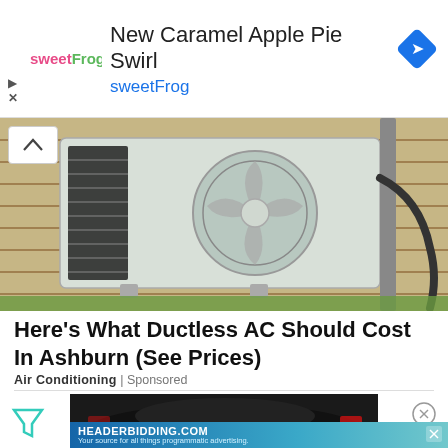[Figure (screenshot): sweetFrog advertisement banner with logo, text 'New Caramel Apple Pie Swirl', blue link 'sweetFrog', and a blue diamond navigation icon on the right]
[Figure (photo): Outdoor ductless mini-split air conditioning unit mounted on a brick wall with refrigerant lines]
Here's What Ductless AC Should Cost In Ashburn (See Prices)
Air Conditioning | Sponsored
[Figure (screenshot): Second advertisement area showing a dark sports car image with a teal triangle/funnel icon on the left, close X button on the right, and HEADERBIDDING.COM banner at the bottom reading 'Your source for all things programmatic advertising.']